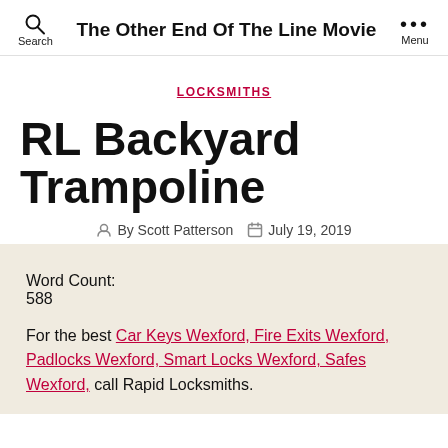The Other End Of The Line Movie
LOCKSMITHS
RL Backyard Trampoline
By Scott Patterson   July 19, 2019
Word Count:
588
For the best Car Keys Wexford, Fire Exits Wexford, Padlocks Wexford, Smart Locks Wexford, Safes Wexford, call Rapid Locksmiths.